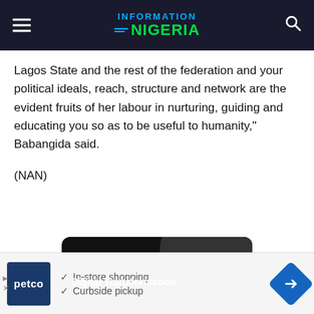INFORMATION NIGERIA
Lagos State and the rest of the federation and your political ideals, reach, structure and network are the evident fruits of her labour in nurturing, guiding and educating you so as to be useful to humanity," Babangida said.
(NAN)
[Figure (screenshot): Video or promo banner showing 'Digital Transformation' text on dark background with curved shape]
[Figure (screenshot): Petco advertisement banner with logo, checkmarks for 'In-store shopping' and 'Curbside pickup', and navigation icon]